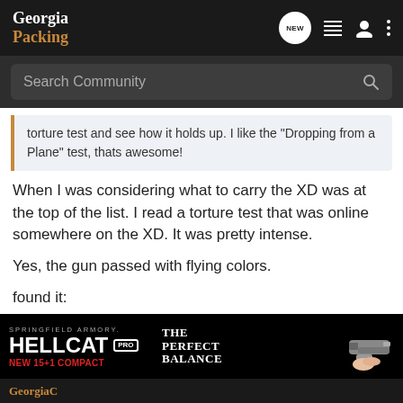Georgia Packing
Search Community
torture test and see how it holds up. I like the "Dropping from a Plane" test, thats awesome!
When I was considering what to carry the XD was at the top of the list. I read a torture test that was online somewhere on the XD. It was pretty intense.
Yes, the gun passed with flying colors.
found it:
http://springfield-armory.primediaoutdo ... ory11.html
[Figure (screenshot): Springfield Armory Hellcat Pro advertisement banner — 'THE PERFECT BALANCE' tagline with image of handgun]
GeorgiaC